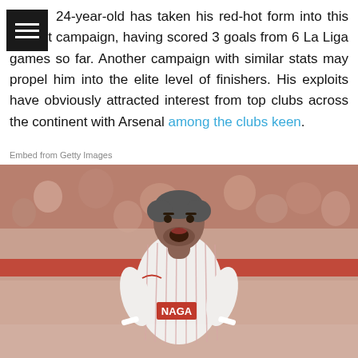24-year-old has taken his red-hot form into this current campaign, having scored 3 goals from 6 La Liga games so far. Another campaign with similar stats may propel him into the elite level of finishers. His exploits have obviously attracted interest from top clubs across the continent with Arsenal among the clubs keen.
Embed from Getty Images
[Figure (photo): A football player in a white Sevilla kit with NAGA sponsor, mouth open as if shouting, photographed at a stadium with crowd in background.]